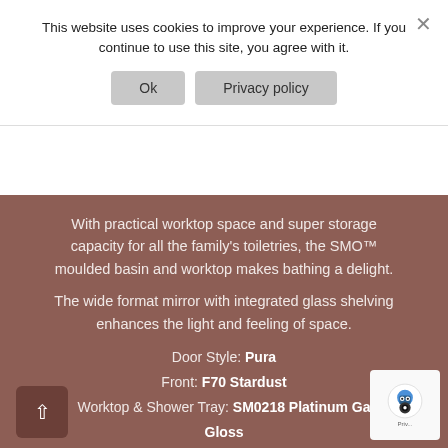This website uses cookies to improve your experience. If you continue to use this site, you agree with it.
Ok | Privacy policy
With practical worktop space and super storage capacity for all the family’s toiletries, the SMO™ moulded basin and worktop makes bathing a delight.
The wide format mirror with integrated glass shelving enhances the light and feeling of space.
Door Style: Pura
Front: F70 Stardust
Worktop & Shower Tray: SM0218 Platinum Ga... Gloss
Handle: P107 Pura Chrome